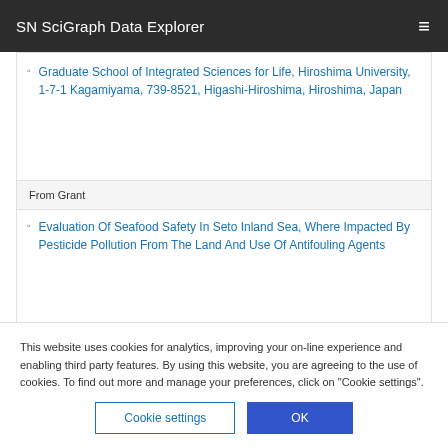SN SciGraph Data Explorer
Graduate School of Integrated Sciences for Life, Hiroshima University, 1-7-1 Kagamiyama, 739-8521, Higashi-Hiroshima, Hiroshima, Japan
From Grant
Evaluation Of Seafood Safety In Seto Inland Sea, Where Impacted By Pesticide Pollution From The Land And Use Of Antifouling Agents
This website uses cookies for analytics, improving your on-line experience and enabling third party features. By using this website, you are agreeing to the use of cookies. To find out more and manage your preferences, click on “Cookie settings”.